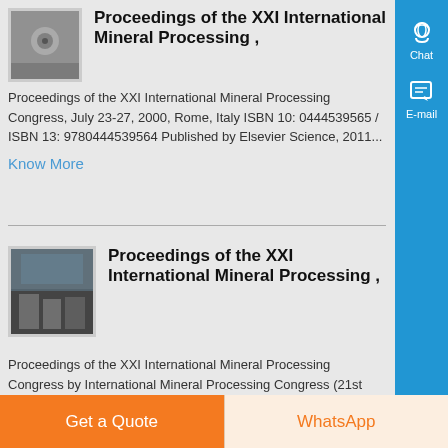[Figure (photo): Thumbnail photo of mineral processing equipment, bolt/machinery detail]
Proceedings of the XXI International Mineral Processing ,
Proceedings of the XXI International Mineral Processing Congress, July 23-27, 2000, Rome, Italy ISBN 10: 0444539565 / ISBN 13: 9780444539564 Published by Elsevier Science, 2011...
Know More
[Figure (photo): Thumbnail photo of mineral processing facility interior]
Proceedings of the XXI International Mineral Processing ,
Proceedings of the XXI International Mineral Processing Congress by International Mineral Processing Congress (21st 2000 Rome, Italy).
Get a Quote
WhatsApp